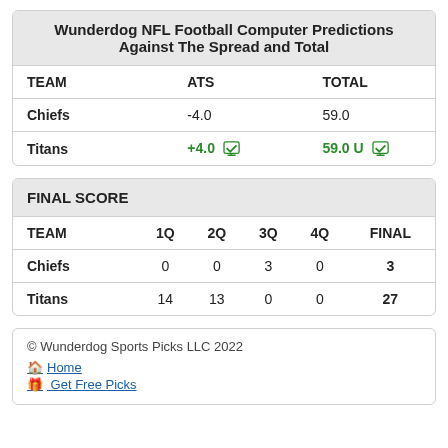Wunderdog NFL Football Computer Predictions Against The Spread and Total
| TEAM | ATS | TOTAL |
| --- | --- | --- |
| Chiefs | -4.0 | 59.0 |
| Titans | +4.0 ✓ | 59.0 U ✓ |
FINAL SCORE
| TEAM | 1Q | 2Q | 3Q | 4Q | FINAL |
| --- | --- | --- | --- | --- | --- |
| Chiefs | 0 | 0 | 3 | 0 | 3 |
| Titans | 14 | 13 | 0 | 0 | 27 |
© Wunderdog Sports Picks LLC 2022
Home
Get Free Picks